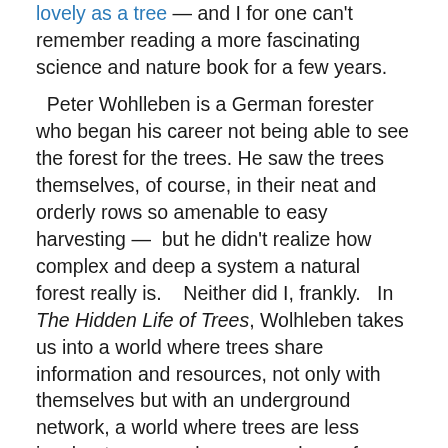lovely as a tree — and I for one can't remember reading a more fascinating science and nature book for a few years.

Peter Wohlleben is a German forester who began his career not being able to see the forest for the trees. He saw the trees themselves, of course, in their neat and orderly rows so amenable to easy harvesting —  but he didn't realize how complex and deep a system a natural forest really is.    Neither did I, frankly.   In The Hidden Life of Trees, Wolhleben takes us into a world where trees share information and resources, not only with themselves but with an underground network, a world where trees are less insular  towers and more members of varied and complex local ecosystems.

Let's start with the coolest part of this book: the mycelial web.  In a natural forest, trees are connected to one another through an underground network of fungi, an